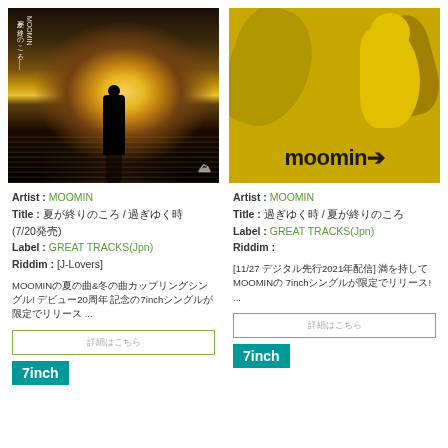[Figure (photo): Album cover showing silhouette of person standing on beach at sunset with dramatic light reflection on water, small mountain logo at bottom right, Japanese text at top left]
Artist : MOOMIN
Title : ○○○○○○○○○○ / ○○○○○○ (7/20○○)
Label : GREAT TRACKS(Jpn)
Riddim : [J-Lovers]
MOOMIN○○○○○○○&○○○○○○○○○○○○○! ○○○○20○○ ○○○○7inch○○○○○○○○○○○○ ...
○○○○○○○
7inch
[Figure (photo): Album cover with yellow/gold background featuring abstract Moomin character shapes and moomin logotype at bottom]
Artist : MOOMIN
Title : ○○○○○○○○○ / ○○○○○○
Label : GREAT TRACKS(Jpn)
Riddim :
[11/27 ○○○○○2021○○○○] ○○○○MOOMIN○○ ○○○○7inch○○○○○○○○○○○! ...
○○○○○○○
7inch